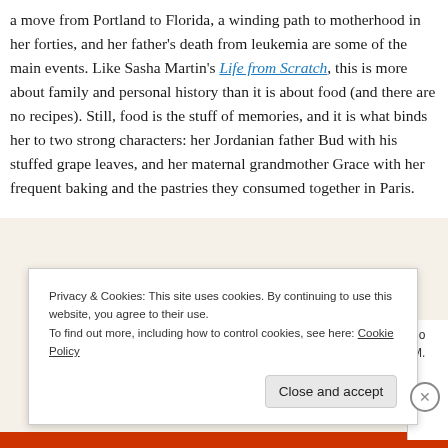a move from Portland to Florida, a winding path to motherhood in her forties, and her father's death from leukemia are some of the main events. Like Sasha Martin's Life from Scratch, this is more about family and personal history than it is about food (and there are no recipes). Still, food is the stuff of memories, and it is what binds her to two strong characters: her Jordanian father Bud with his stuffed grape leaves, and her maternal grandmother Grace with her frequent baking and the pastries they consumed together in Paris.
Privacy & Cookies: This site uses cookies. By continuing to use this website, you agree to their use.
To find out more, including how to control cookies, see here: Cookie Policy
Close and accept